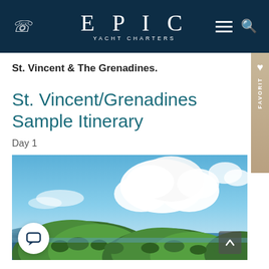EPIC YACHT CHARTERS
St. Vincent & The Grenadines.
St. Vincent/Grenadines Sample Itinerary
Day 1
[Figure (photo): Aerial or elevated view of lush green tropical island hills with blue ocean water and dramatic white clouds against a blue sky — St. Vincent and the Grenadines.]